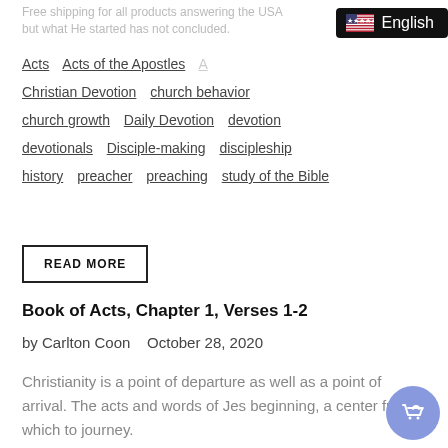Free shipping for all products answering the USA but what He started has not concluded.
[Figure (other): English language selector badge with US flag icon on black background]
Acts  Acts of the Apostles  Christian Devotion  church behavior  church growth  Daily Devotion  devotion  devotionals  Disciple-making  discipleship  history  preacher  preaching  study of the Bible
READ MORE
Book of Acts, Chapter 1, Verses 1-2
by Carlton Coon   October 28, 2020
Christianity is a point of departure as well as a point of arrival. The acts and words of Jesus a beginning, a center from which to journey.